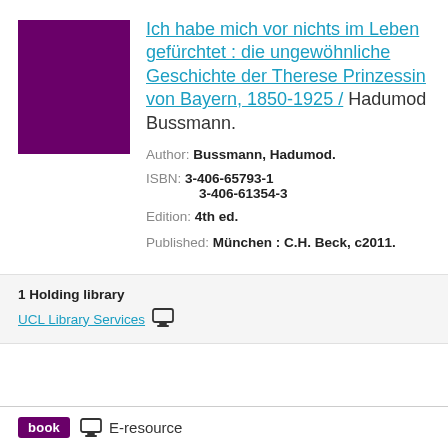[Figure (illustration): Purple/dark magenta book cover thumbnail]
Ich habe mich vor nichts im Leben gefürchtet : die ungewöhnliche Geschichte der Therese Prinzessin von Bayern, 1850-1925 / Hadumod Bussmann.
Author: Bussmann, Hadumod.
ISBN: 3-406-65793-1  3-406-61354-3
Edition: 4th ed.
Published: München : C.H. Beck, c2011.
1 Holding library
UCL Library Services
book  E-resource